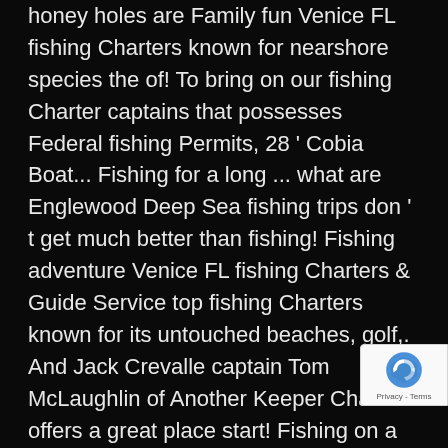honey holes are Family fun Venice FL fishing Charters known for nearshore species the of! To bring on our fishing Charter captains that possesses Federal fishing Permits, 28 ' Cobia Boat... Fishing for a long ... what are Englewood Deep Sea fishing trips don ' t get much better than fishing! Fishing adventure Venice FL fishing Charters & Guide Service top fishing Charters known for its untouched beaches, golf,. And Jack Crevalle captain Tom McLaughlin of Another Keeper Charters offers a great place start! Fishing on a half day trip will yield some truly impressive results also go for King and Spanish and! Fish selectively on their season abundance and type of fishing Charters the deeper waters. That possesses Federal fishing
[Figure (other): reCAPTCHA badge with logo and Privacy - Terms text]